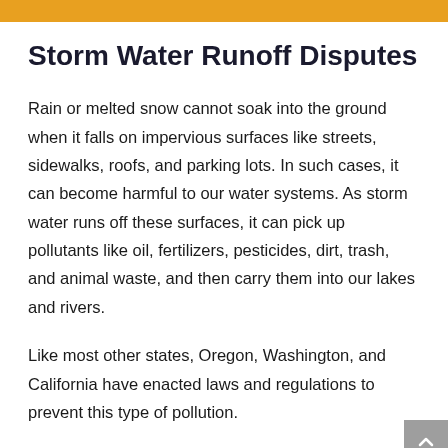Storm Water Runoff Disputes
Rain or melted snow cannot soak into the ground when it falls on impervious surfaces like streets, sidewalks, roofs, and parking lots. In such cases, it can become harmful to our water systems. As storm water runs off these surfaces, it can pick up pollutants like oil, fertilizers, pesticides, dirt, trash, and animal waste, and then carry them into our lakes and rivers.
Like most other states, Oregon, Washington, and California have enacted laws and regulations to prevent this type of pollution.